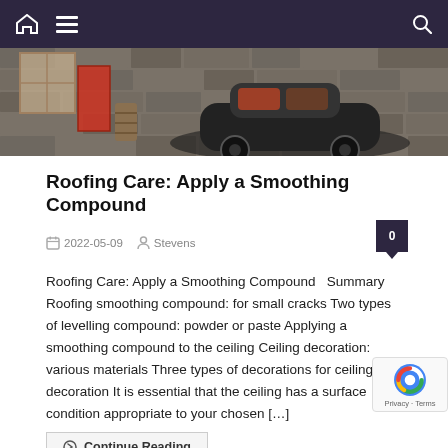Navigation bar with home icon, hamburger menu, and search icon
[Figure (photo): Hero image showing a vintage black car parked in front of a stone wall building with a red door]
Roofing Care: Apply a Smoothing Compound
2022-05-09   Stevens   0
Roofing Care: Apply a Smoothing Compound   Summary Roofing smoothing compound: for small cracks Two types of levelling compound: powder or paste Applying a smoothing compound to the ceiling Ceiling decoration: various materials Three types of decorations for ceiling decoration It is essential that the ceiling has a surface condition appropriate to your chosen […]
Continue Reading